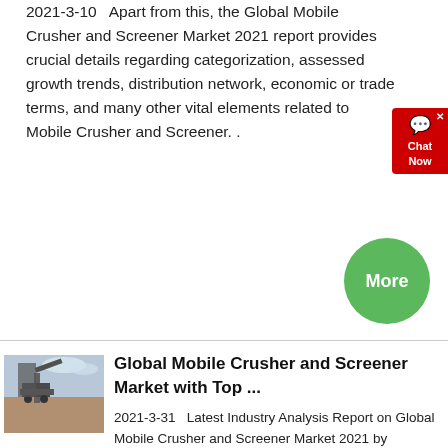2021-3-10   Apart from this, the Global Mobile Crusher and Screener Market 2021 report provides crucial details regarding categorization, assessed growth trends, distribution network, economic or trade terms, and many other vital elements related to Mobile Crusher and Screener. .
[Figure (other): Red chat widget button with speech bubble icon, 'Chat Now' text]
[Figure (other): Green circular 'More' button]
[Figure (photo): Thumbnail photo of a mobile crusher/screener machine at a quarry or construction site]
Global Mobile Crusher and Screener Market with Top ...
2021-3-31   Latest Industry Analysis Report on Global Mobile Crusher and Screener Market 2021 by Competitors, Geographies, Varieties, Application, and Prediction to 2026 represents a